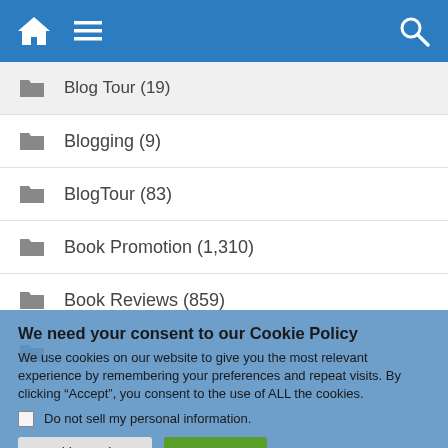[Figure (screenshot): Blue navigation bar with home icon, hamburger menu icon, and search icon]
Blog Tour (19)
Blogging (9)
BlogTour (83)
Book Promotion (1,310)
Book Reviews (859)
We need your consent to our Cookie Policy
We use cookies on our website to give you the most relevant experience by remembering your preferences and repeat visits. By clicking “Accept”, you consent to the use of ALL the cookies.
Do not sell my personal information.
Cookie Settings   Accept